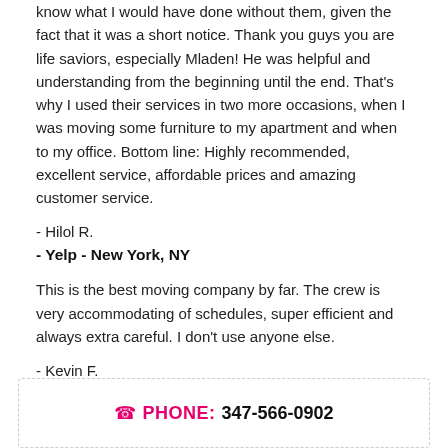know what I would have done without them, given the fact that it was a short notice. Thank you guys you are life saviors, especially Mladen! He was helpful and understanding from the beginning until the end. That's why I used their services in two more occasions, when I was moving some furniture to my apartment and when to my office. Bottom line: Highly recommended, excellent service, affordable prices and amazing customer service.
- Hilol R.
- Yelp - New York, NY
This is the best moving company by far. The crew is very accommodating of schedules, super efficient and always extra careful. I don't use anyone else.
- Kevin F.
- Yelp - Rutherford, NJ
PHONE: 347-566-0902